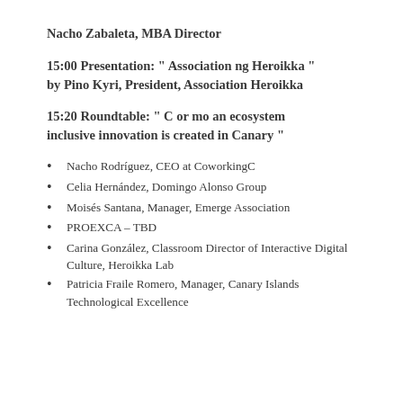Nacho Zabaleta, MBA Director
15:00 Presentation: " Association ng Heroikka " by Pino Kyri, President, Association Heroikka
15:20 Roundtable: " C or mo an ecosystem inclusive innovation is created in Canary "
Nacho Rodríguez, CEO at CoworkingC
Celia Hernández, Domingo Alonso Group
Moisés Santana, Manager, Emerge Association
PROEXCA – TBD
Carina González, Classroom Director of Interactive Digital Culture, Heroikka Lab
Patricia Fraile Romero, Manager, Canary Islands Technological Excellence